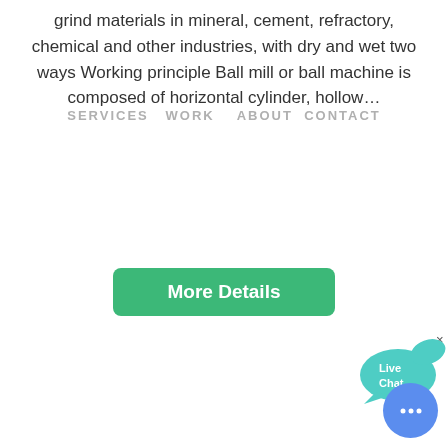grind materials in mineral, cement, refractory, chemical and other industries, with dry and wet two ways Working principle Ball mill or ball machine is composed of horizontal cylinder, hollow…
SERVICES   WORK   ABOUT   CONTACT
[Figure (other): Green 'More Details' button]
[Figure (other): Live Chat speech bubble widget with teal/blue color and × close button]
[Figure (other): Color selector panel showing Orange, Blue, Yellow options]
[Figure (photo): Photograph of a mineral processing plant with conveyors, machinery, and silos on dirt ground under a cloudy sky]
Introduction to Mineral Processing or Beneficiation